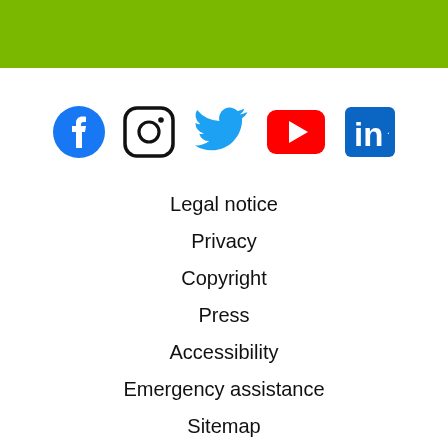[Figure (illustration): Green header bar at top of page]
[Figure (illustration): Row of five social media icons: Facebook (blue circle with f), Instagram (black rounded square camera icon), Twitter (blue bird), YouTube (red rectangle with play button), LinkedIn (blue square with 'in')]
Legal notice
Privacy
Copyright
Press
Accessibility
Emergency assistance
Sitemap